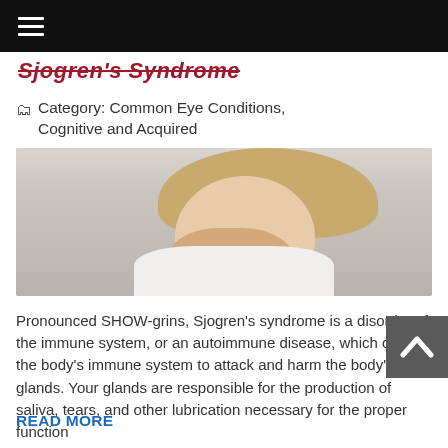≡
Sjogren's Syndrome
🗂 Category: Common Eye Conditions, Cognitive and Acquired
[Figure (photo): A blonde woman covering her face/eyes with her hands, wearing a white shirt, against a light grey background. Illustrates eye discomfort associated with Sjogren's Syndrome.]
Pronounced SHOW-grins, Sjogren's syndrome is a disorder of the immune system, or an autoimmune disease, which causes the body's immune system to attack and harm the body's glands. Your glands are responsible for the production of saliva, tears, and other lubrication necessary for the proper function
READ MORE